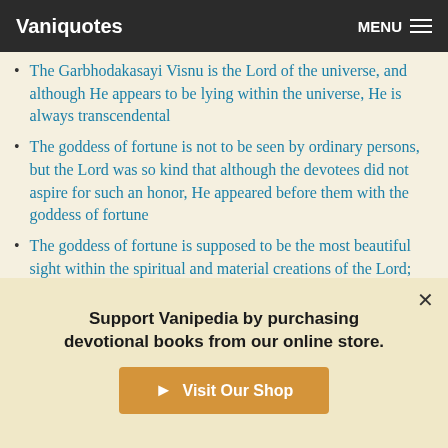Vaniquotes | MENU
The Garbhodakasayi Visnu is the Lord of the universe, and although He appears to be lying within the universe, He is always transcendental
The goddess of fortune is not to be seen by ordinary persons, but the Lord was so kind that although the devotees did not aspire for such an honor, He appeared before them with the goddess of fortune
The goddess of fortune is supposed to be the most beautiful sight within the spiritual and material creations of the Lord; she has a sense of being the most beautiful, yet her beauty was defeated when the Lord appeared
Support Vanipedia by purchasing devotional books from our online store.
Visit Our Shop